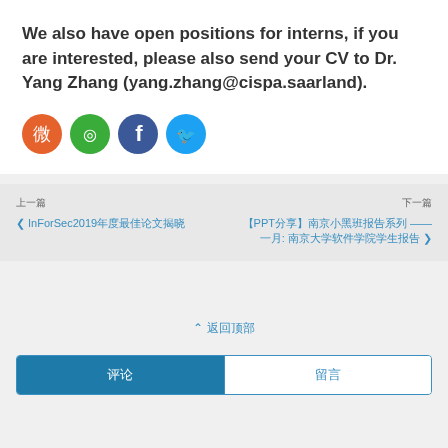We also have open positions for interns, if you are interested, please also send your CV to Dr. Yang Zhang (yang.zhang@cispa.saarland).
[Figure (infographic): Four social media icons: Weibo (orange), WeChat (green), Facebook (dark blue), Twitter (light blue)]
上一篇 | 下一篇 navigation bar with links: InForSec2019年度最佳论文揭晓 (left) and 【PPT分享】南京小黑班报告系列 — 一月: 南京大学软件学院学生报告 (right)
⋀ 返回顶部
评论 | 留言 tab bar